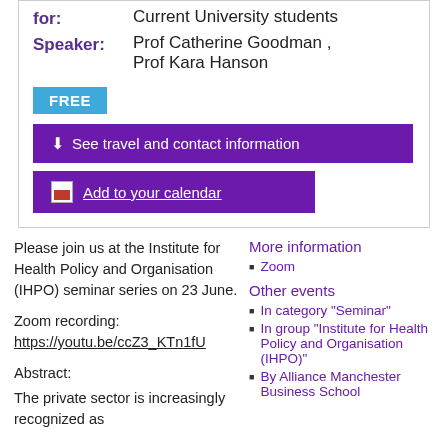for: Current University students
Speaker: Prof Catherine Goodman , Prof Kara Hanson
FREE
See travel and contact information
Add to your calendar
Please join us at the Institute for Health Policy and Organisation (IHPO) seminar series on 23 June.
Zoom recording: https://youtu.be/ccZ3_KTn1fU
Abstract:
The private sector is increasingly recognized as
More information
Zoom
Other events
In category "Seminar"
In group "Institute for Health Policy and Organisation (IHPO)"
By Alliance Manchester Business School